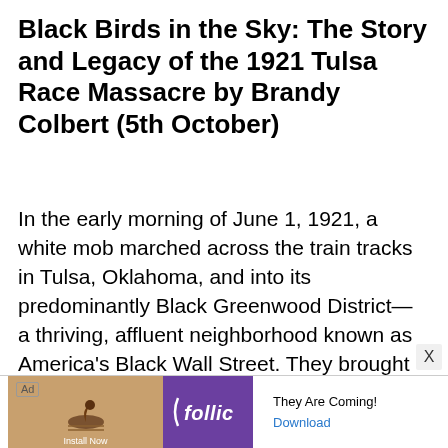Black Birds in the Sky: The Story and Legacy of the 1921 Tulsa Race Massacre by Brandy Colbert (5th October)
In the early morning of June 1, 1921, a white mob marched across the train tracks in Tulsa, Oklahoma, and into its predominantly Black Greenwood District—a thriving, affluent neighborhood known as America's Black Wall Street. They brought with them firearms, gasoline, and explosives. In a few short hours, they'd razed thirty-five square blocks to the ground, leaving hundreds dead. The Tulsa Race Massacre is one of the most devastating acts of racial violence in US history. But how did it com
[Figure (screenshot): Advertisement banner at the bottom of the page. Shows an 'Ad' label, a decorative image area with a bird icon, the 'follic' app logo in purple, text reading 'They Are Coming!' and a 'Download' link button. An X close button appears at the top right of the ad.]